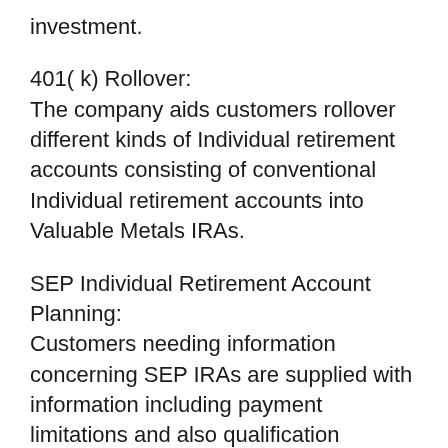investment.
401( k) Rollover:
The company aids customers rollover different kinds of Individual retirement accounts consisting of conventional Individual retirement accounts into Valuable Metals IRAs.
SEP Individual Retirement Account Planning:
Customers needing information concerning SEP IRAs are supplied with information including payment limitations and also qualification demands.
Roth and Traditional IRA Planning:
Knowledge and sources are available to contrast a conventional individual retirement